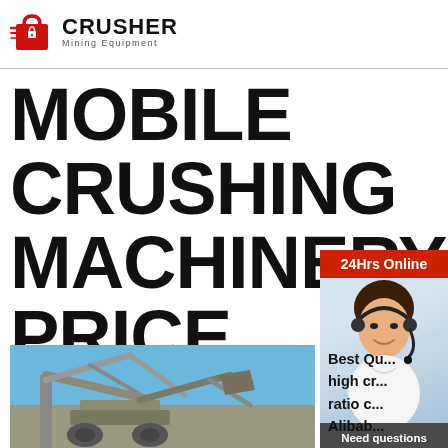[Figure (logo): Crusher Mining Equipment logo with red shopping bag icon and bold text]
MOBILE CRUSHING MACHINERY PRICE
[Figure (infographic): Sidebar with 24Hrs Online banner, customer service agent with headset, Need questions & suggestion? text, Chat Now button, Enquiry link, limingjlmofen@sina.com email]
[Figure (photo): Mobile crushing machinery equipment photo against blue sky]
Best Qu... high cr... ratio c... Aliba...